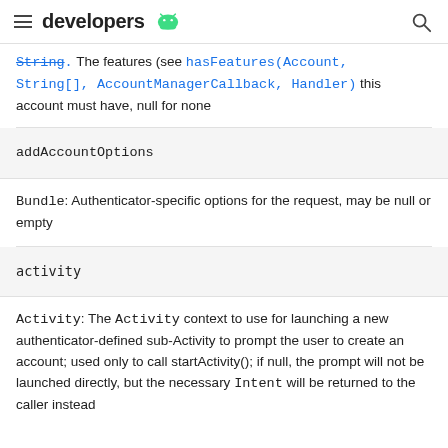developers
String: The features (see hasFeatures(Account, String[], AccountManagerCallback, Handler)) this account must have, null for none
addAccountOptions
Bundle: Authenticator-specific options for the request, may be null or empty
activity
Activity: The Activity context to use for launching a new authenticator-defined sub-Activity to prompt the user to create an account; used only to call startActivity(); if null, the prompt will not be launched directly, but the necessary Intent will be returned to the caller instead